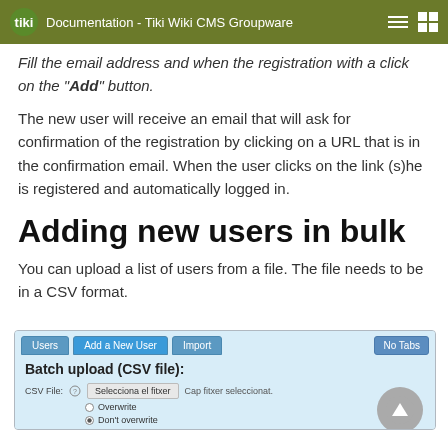Documentation - Tiki Wiki CMS Groupware
Fill the email address and when the registration with a click on the "Add" button.
The new user will receive an email that will ask for confirmation of the registration by clicking on a URL that is in the confirmation email. When the user clicks on the link (s)he is registered and automatically logged in.
Adding new users in bulk
You can upload a list of users from a file. The file needs to be in a CSV format.
[Figure (screenshot): Screenshot of Tiki Wiki CMS user admin interface showing tabs: Users, Add a New User, Import, and No Tabs button. Below is a Batch upload (CSV file) form with a file chooser showing 'Selecciona el fitxer' button and 'Cap fitxer seleccionat.' text, plus Overwrite and Don't overwrite radio buttons.]